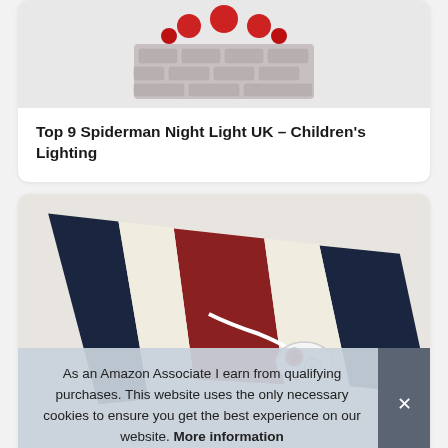[Figure (photo): Partial image of a Spiderman night light product — a brick wall-shaped LED light with red decorative elements at the top, gray brick texture visible.]
Top 9 Spiderman Night Light UK – Children's Lighting
[Figure (photo): An electric heating pad/blanket with navy blue, red, and cream/white stripes, with a white control dial attached by a cable, photographed on a light background.]
As an Amazon Associate I earn from qualifying purchases. This website uses the only necessary cookies to ensure you get the best experience on our website. More information